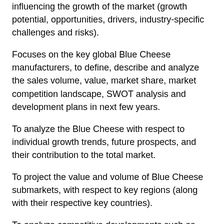influencing the growth of the market (growth potential, opportunities, drivers, industry-specific challenges and risks).
Focuses on the key global Blue Cheese manufacturers, to define, describe and analyze the sales volume, value, market share, market competition landscape, SWOT analysis and development plans in next few years.
To analyze the Blue Cheese with respect to individual growth trends, future prospects, and their contribution to the total market.
To project the value and volume of Blue Cheese submarkets, with respect to key regions (along with their respective key countries).
To analyze competitive developments such as expansions, agreements, new product launches, and acquisitions in the